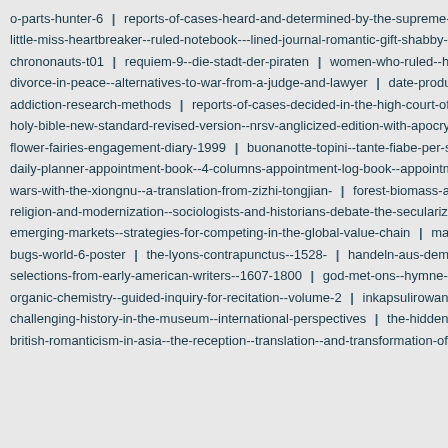o-parts-hunter-6 | reports-of-cases-heard-and-determined-by-the-supreme-cou
little-miss-heartbreaker--ruled-notebook---lined-journal-romantic-gift-shabby-chic-
chrononauts-t01 | requiem-9--die-stadt-der-piraten | women-who-ruled--histo
divorce-in-peace--alternatives-to-war-from-a-judge-and-lawyer | date-productio
addiction-research-methods | reports-of-cases-decided-in-the-high-court-of-gri
holy-bible-new-standard-revised-version--nrsv-anglicized-edition-with-apocrypha
flower-fairies-engagement-diary-1999 | buonanotte-topini--tante-fiabe-per-sogn
daily-planner-appointment-book--4-columns-appointment-log-book--appointment-
wars-with-the-xiongnu--a-translation-from-zizhi-tongjian- | forest-biomass-and-e
religion-and-modernization--sociologists-and-historians-debate-the-secularization
emerging-markets--strategies-for-competing-in-the-global-value-chain | magic-c
bugs-world-6-poster | the-lyons-contrapunctus--1528- | handeln-aus-dem-gei
selections-from-early-american-writers--1607-1800 | god-met-ons--hymne--182
organic-chemistry--guided-inquiry-for-recitation--volume-2 | inkapsulirowanie-te
challenging-history-in-the-museum--international-perspectives | the-hidden-pla
british-romanticism-in-asia--the-reception--translation--and-transformation-of-rom